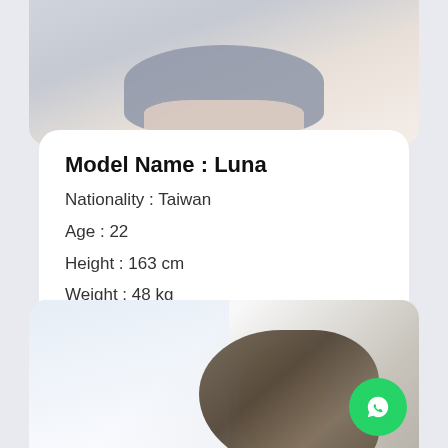[Figure (photo): Top portion of a photo showing a person wearing a grey sports bra/crop top, cropped at mid-torso]
Model Name : Luna
Nationality : Taiwan
Age : 22
Height : 163 cm
Weight : 48 kg
Size Cup : 36 – 24 – 36
Read More →
[Figure (photo): Partial photo of a woman with brown hair, background with bright window light, WhatsApp contact button overlay in bottom right]